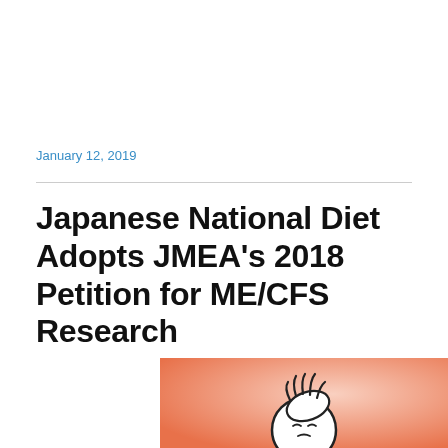January 12, 2019
Japanese National Diet Adopts JMEA's 2018 Petition for ME/CFS Research
[Figure (illustration): Illustration of a person in distress, head bowed with hand on head, against a warm orange/pink gradient background, rendered in a simple outline style.]